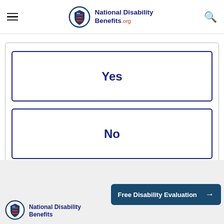National Disability Benefits.org
Yes
No
[Figure (logo): National Disability Benefits.org logo with circular emblem featuring American flag shield design]
Free Disability Evaluation →